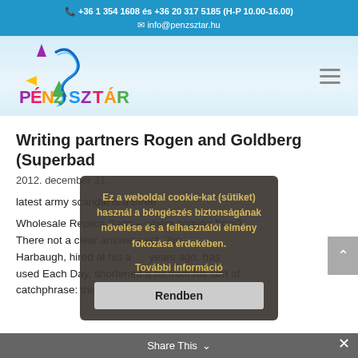+36 1 354 1608 és +36 20 317 5185 (H-P 10.00-16.00) info@penzsztar.hu
[Figure (logo): Pénzsztár logo with colorful star and dragon/swirl design, rainbow colored text]
Writing partners Rogen and Goldberg (Superbad
2012. december 31
latest army scandal is a three
Wholesale Replica Bags – where coming from? There not a clear answer each Jim Harbaugh, hired at his a years ago, has used Each Day, shortened a bit from his sort of catchphrase: this day with enthusiasm unknown to
Ez a weboldal cookie-kat (sütiket) használ a böngészés biztonságának növelése és a felhasználói élmény fokozása érdekében. További információ Rendben
Share This